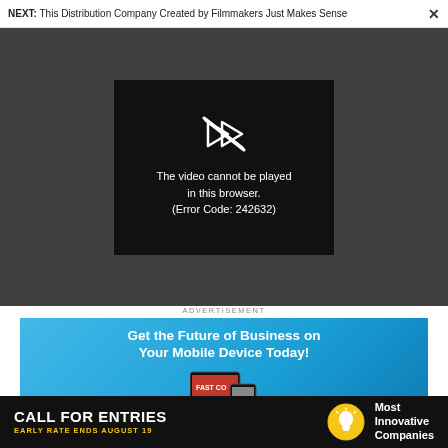NEXT: This Distribution Company Created by Filmmakers Just Makes Sense ×
[Figure (screenshot): Video player showing error: 'The video cannot be played in this browser. (Error Code: 242632)' on dark background]
ADVERTISEMENT
[Figure (infographic): Blue advertisement banner: 'Get the Future of Business on Your Mobile Device Today!' with tablet and phone showing Fast Company magazine]
[Figure (infographic): Black bottom banner: 'CALL FOR ENTRIES – EARLY RATE ENDS AUGUST 19' with lightbulb icon and 'Most Innovative Companies' text]